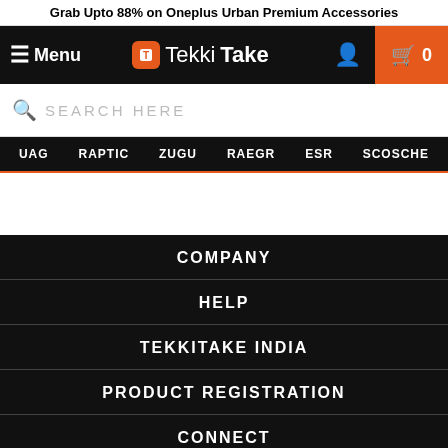Grab Upto 88% on Oneplus Urban Premium Accessories
[Figure (screenshot): TekkiTake website navigation bar with hamburger menu, logo, user icon, and cart icon (0)]
[Figure (screenshot): Search bar with SEARCH HERE placeholder text]
[Figure (screenshot): Category navigation bar with UAG, RAPTIC, ZUGU, RAEGR, ESR, SCOSCHE]
COMPANY
HELP
TEKKITAKE INDIA
PRODUCT REGISTRATION
CONNECT
[Figure (screenshot): Bottom action bar with Clear dropdown, quantity 1, BUY NOW button and offers text]